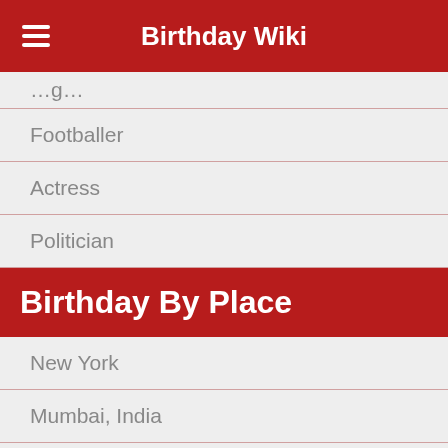Birthday Wiki
(partial row — truncated at top)
Footballer
Actress
Politician
Birthday By Place
New York
Mumbai, India
Capetown, South Africa
Kathmandu, Nepal
Atlanta, Georgia
Birthday By Month